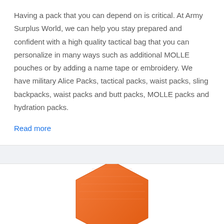Having a pack that you can depend on is critical. At Army Surplus World, we can help you stay prepared and confident with a high quality tactical bag that you can personalize in many ways such as additional MOLLE pouches or by adding a name tape or embroidery. We have military Alice Packs, tactical packs, waist packs, sling backpacks, waist packs and butt packs, MOLLE packs and hydration packs.
Read more
[Figure (illustration): Partial view of an orange hexagonal product (likely a bag or pack), shown from above, cropped at the bottom of the page.]